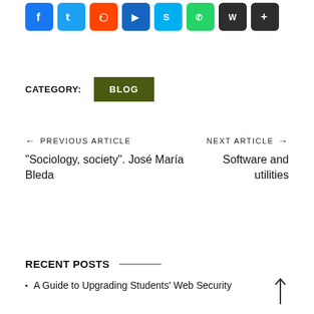[Figure (other): Row of social media sharing icons: Facebook (blue), Twitter (blue), Reddit (orange), YouTube (blue), Skype (blue), WhatsApp (green), Twitter/X (dark), share (dark)]
CATEGORY:   BLOG
← PREVIOUS ARTICLE
NEXT ARTICLE →
“Sociology, society”. José María Bleda
Software and utilities
RECENT POSTS
A Guide to Upgrading Students’ Web Security